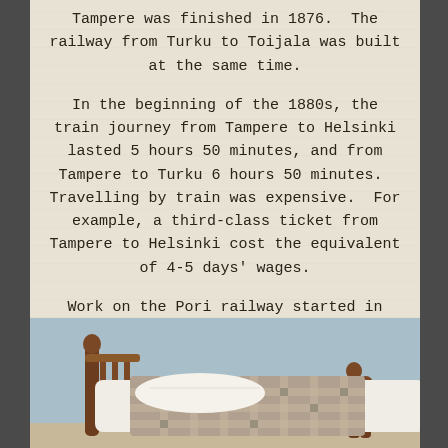Tampere was finished in 1876.  The railway from Turku to Toijala was built at the same time.
In the beginning of the 1880s, the train journey from Tampere to Helsinki lasted 5 hours 50 minutes, and from Tampere to Turku 6 hours 50 minutes.  Travelling by train was expensive.  For example, a third-class ticket from Tampere to Helsinki cost the equivalent of 4-5 days' wages.
Work on the Pori railway started in 1890, and the railway was finished in 1895.
[Figure (photo): A wooden bed frame with a plaid/checkered blanket draped over it and a white pillow, photographed against a light blue wall background.]